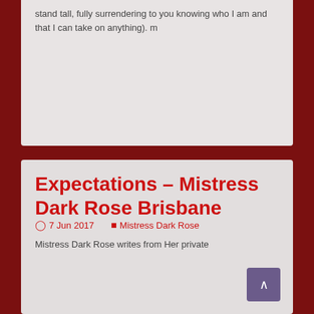stand tall, fully surrendering to you knowing who I am and that I can take on anything).  m
Expectations – Mistress Dark Rose Brisbane
7 Jun 2017   Mistress Dark Rose
Mistress Dark Rose writes from Her private